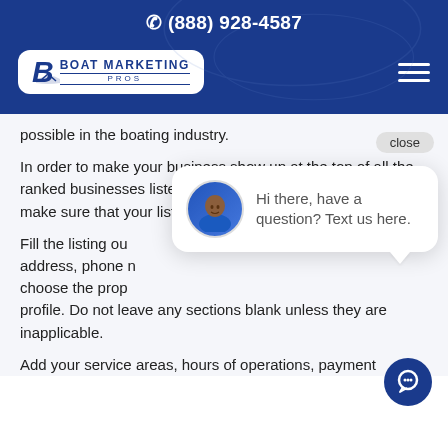(888) 928-4587
[Figure (logo): Boat Marketing Pros logo — blue B with boat icon and company name on white rounded rectangle]
possible in the boating industry.
In order to make your business show up at the top of all the ranked businesses listed in your area, it is necessary to make sure that your listing is fully optimized.
Fill the listing out completely with your business address, phone number, website URL, and be sure to choose the proper category for your Google Business profile. Do not leave any sections blank unless they are inapplicable.
Add your service areas, hours of operations, payment
[Figure (screenshot): Chat popup widget with close button, avatar of a smiling man in blue shirt, and text: Hi there, have a question? Text us here.]